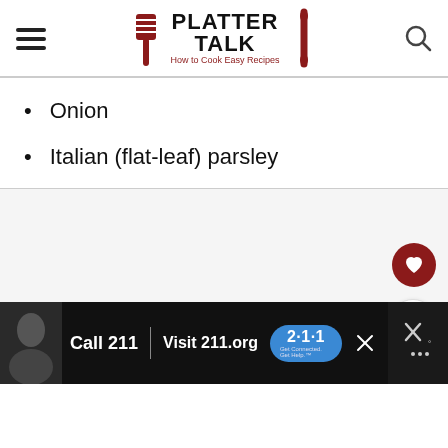PLATTER TALK - How to Cook Easy Recipes
Onion
Italian (flat-leaf) parsley
[Figure (other): Advertisement placeholder area with floating heart and share buttons]
Call 211 | Visit 211.org | 2·1·1